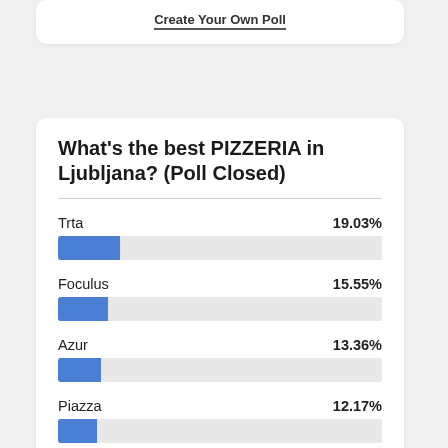Create Your Own Poll
What's the best PIZZERIA in Ljubljana? (Poll Closed)
[Figure (bar-chart): What's the best PIZZERIA in Ljubljana? (Poll Closed)]